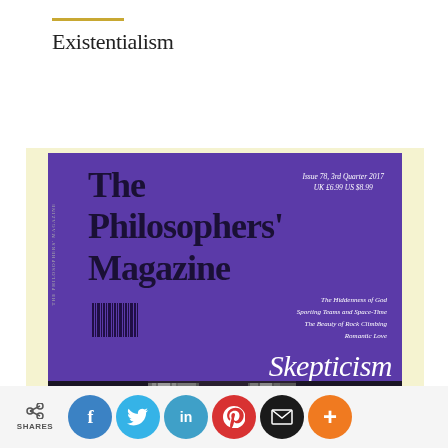Existentialism
[Figure (photo): Cover of The Philosophers' Magazine, Issue 78, 3rd Quarter 2017, UK £6.99 US $8.99. Purple cover featuring the magazine title in bold black serif font. Topics listed: The Hiddenness of God, Sporting Teams and Space-Time, The Beauty of Rock Climbing, Romantic Love. Large italic white text reads 'Skepticism'. Bottom portion shows a dark photographic image of what appears to be a doorway or corridor.]
SHARES  f  t  in  P  (email)  +